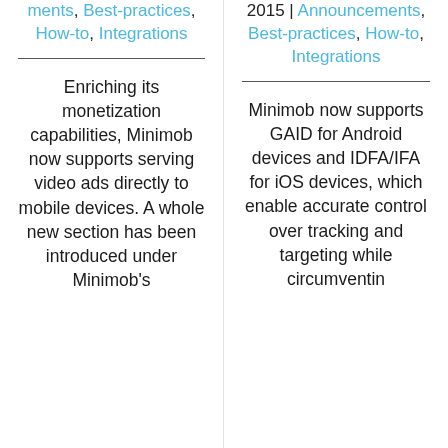ments, Best-practices, How-to, Integrations
Enriching its monetization capabilities, Minimob now supports serving video ads directly to mobile devices. A whole new section has been introduced under Minimob's
2015 | Announcements, Best-practices, How-to, Integrations
Minimob now supports GAID for Android devices and IDFA/IFA for iOS devices, which enable accurate control over tracking and targeting while circumventin